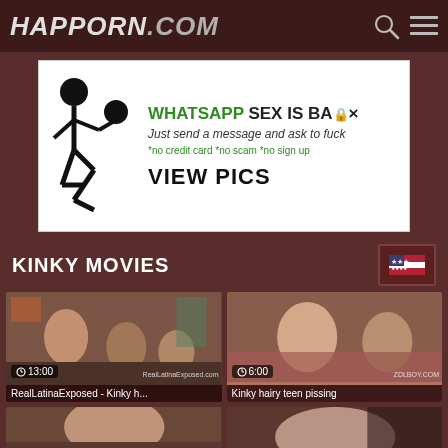HAPPORN.COM
[Figure (photo): Advertisement banner: WhatsApp Sex Is Back - Just send a message and ask to fuck - *no credit card *no scam *no sign up - VIEW PICS]
KINKY MOVIES
[Figure (photo): Video thumbnail: RealLatinaExposed - Kinky h... Duration 13:00, watermark RealLatinaExposed.com]
[Figure (photo): Video thumbnail: Kinky hairy teen pissing. Duration 6:00, watermark ZDLBOY.COM]
[Figure (photo): Video thumbnail: partial, bottom row left]
[Figure (photo): Video thumbnail: partial, bottom row right]